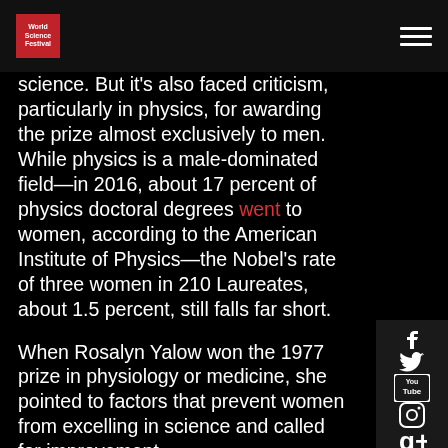World Science Festival
science. But it’s also faced criticism, particularly in physics, for awarding the prize almost exclusively to men. While physics is a male-dominated field—in 2016, about 17 percent of physics doctoral degrees went to women, according to the American Institute of Physics—the Nobel’s rate of three women in 210 Laureates, about 1.5 percent, still falls far short.
When Rosalyn Yalow won the 1977 prize in physiology or medicine, she pointed to factors that prevent women from excelling in science and called for improvement.
“The failure of women to have reached positions of leadership has been due in large